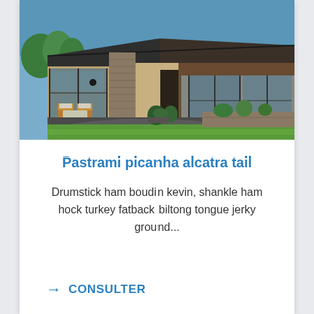[Figure (photo): Exterior photo of a modern ranch-style home with stone pillars, large glass sliding doors, wood patio furniture, green lawn, and covered outdoor patio area.]
Pastrami picanha alcatra tail
Drumstick ham boudin kevin, shankle ham hock turkey fatback biltong tongue jerky ground...
→ CONSULTER